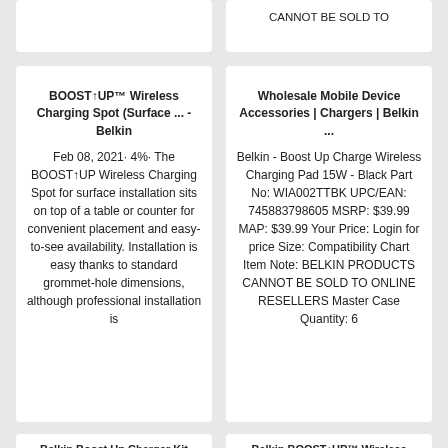CANNOT BE SOLD TO
BOOST↑UP™ Wireless Charging Spot (Surface ... - Belkin
Feb 08, 2021· 4%· The BOOST↑UP Wireless Charging Spot for surface installation sits on top of a table or counter for convenient placement and easy-to-see availability. Installation is easy thanks to standard grommet-hole dimensions, although professional installation is
Wholesale Mobile Device Accessories | Chargers | Belkin ...
Belkin - Boost Up Charge Wireless Charging Pad 15W - Black Part No: WIA002TTBK UPC/EAN: 745883798605 MSRP: $39.99 MAP: $39.99 Your Price: Login for price Size: Compatibility Chart Item Note: BELKIN PRODUCTS CANNOT BE SOLD TO ONLINE RESELLERS Master Case Quantity: 6
Belkin Boost Up Charger Kit
Belkin BOOST↑UP™ Wireless